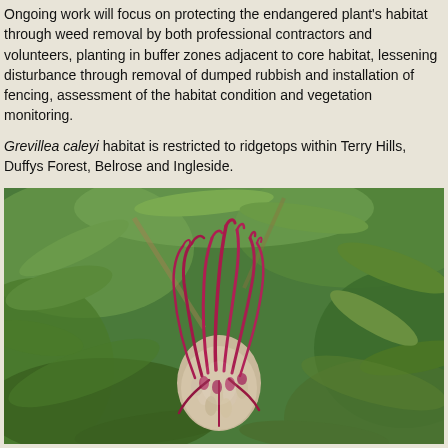Ongoing work will focus on protecting the endangered plant's habitat through weed removal by both professional contractors and volunteers, planting in buffer zones adjacent to core habitat, lessening disturbance through removal of dumped rubbish and installation of fencing, assessment of the habitat condition and vegetation monitoring.
Grevillea caleyi habitat is restricted to ridgetops within Terry Hills, Duffys Forest, Belrose and Ingleside.
[Figure (photo): Close-up photograph of a Grevillea caleyi flower — a cluster of deep crimson/magenta curved styles with pale buds at the base, surrounded by elongated green leaves with a blurred green leafy background.]